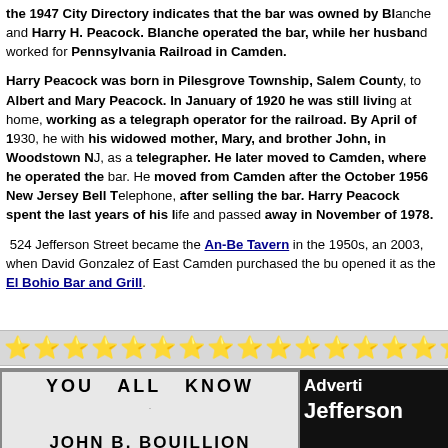the 1947 City Directory indicates that the bar was owned by Blanche and Harry H. Peacock. Blanche operated the bar, while her husband worked for Pennsylvania Railroad in Camden.
Harry Peacock was born in Pilesgrove Township, Salem County, to Albert and Mary Peacock. In January of 1920 he was still living at home, working as a telegraph operator for the railroad. By April of 1930, he and his widowed mother, Mary, and brother John, in Woodstown NJ, as a telegrapher. He later moved to Camden, where he operated the bar. He moved from Camden after the October 1956 New Jersey Bell Telephone, after selling the bar. Harry Peacock spent the last years of his life and passed away in November of 1978.
524 Jefferson Street became the An-Be Tavern in the 1950s, and in 2003, when David Gonzalez of East Camden purchased the building and opened it as the El Bohio Bar and Grill.
[Figure (other): A row of gold star emoji/icons serving as a decorative divider across the page]
[Figure (photo): An old advertisement image showing the text 'YOU ALL KNOW' at the top and 'JOHN B. BOUILLION' in large bold letters below, on a light/white background. To the right is a black panel with white text reading 'Adverti...' and 'Jefferson...' partially visible.]